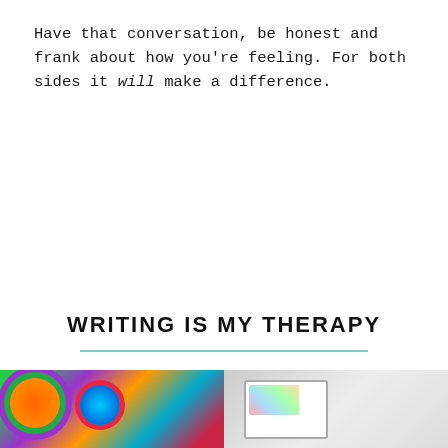Have that conversation, be honest and frank about how you're feeling. For both sides it will make a difference.
WRITING IS MY THERAPY
[Figure (photo): Two side-by-side photos at the bottom of the page: left shows colorful yarn balls in green, purple, orange, and teal; right shows a notebook or planner with decorative items.]